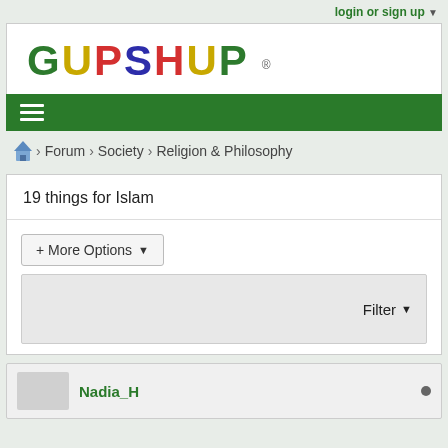login or sign up ▼
[Figure (logo): GUPSHUP colorful logo with registered trademark symbol]
[Figure (infographic): Green navigation bar with hamburger menu icon]
⌂ > Forum > Society > Religion & Philosophy
19 things for Islam
+ More Options ▾
Filter ▼
Nadia_H